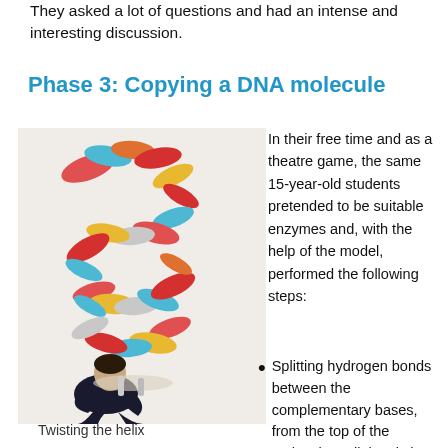They asked a lot of questions and had an intense and interesting discussion.
Phase 3: Copying a DNA molecule
[Figure (photo): A student crouching next to a large colorful double-helix DNA model made of cans/bottles arranged in a spiral structure.]
Twisting the helix
In their free time and as a theatre game, the same 15-year-old students pretended to be suitable enzymes and, with the help of the model, performed the following steps:
Splitting hydrogen bonds between the complementary bases, from the top of the molecule until the sixth